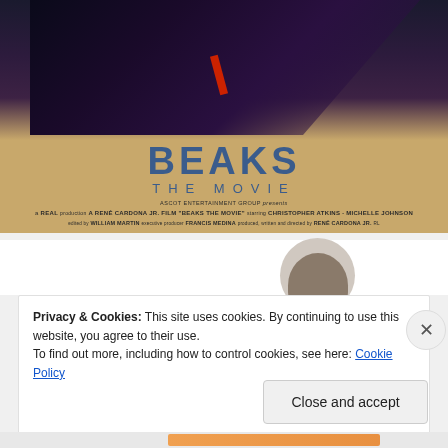[Figure (photo): Movie poster for 'Beaks The Movie' by Ascot Entertainment Group. Shows dark figure in upper portion with title BEAKS in large blue letters, subtitle THE MOVIE, and production credits below including Christopher Atkins, Michelle Johnson, directed by René Cardona Jr.]
Privacy & Cookies: This site uses cookies. By continuing to use this website, you agree to their use.
To find out more, including how to control cookies, see here: Cookie Policy
Close and accept